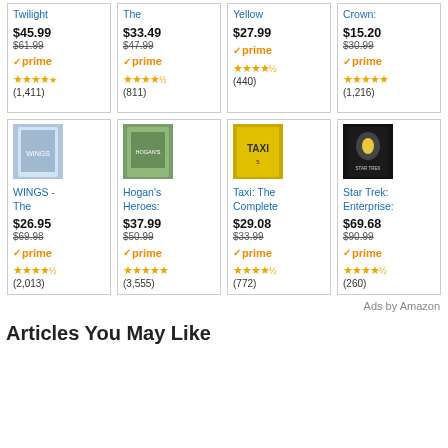[Figure (screenshot): Amazon product grid showing TV show DVD sets with prices, prime badge, star ratings and review counts. Row 1: Twilight $45.99 (was $61.99) 4 stars (1,411); The [title cut off] $33.49 (was $47.99) 4.5 stars (811); Yellow [title cut off] $27.99 4.5 stars (440); Crown: [title cut off] $15.20 (was $30.99) 5 stars (1,216). Row 2 with product images: WINGS - The $26.95 (was $69.98) 4.5 stars (2,013); Hogan's Heroes: $37.99 (was $50.99) 5 stars (3,555); Taxi: The Complete $29.08 (was $33.99) 4.5 stars (772); Star Trek: Enterprise: $69.68 (was $90.99) 4.5 stars (260).]
Ads by Amazon
Articles You May Like